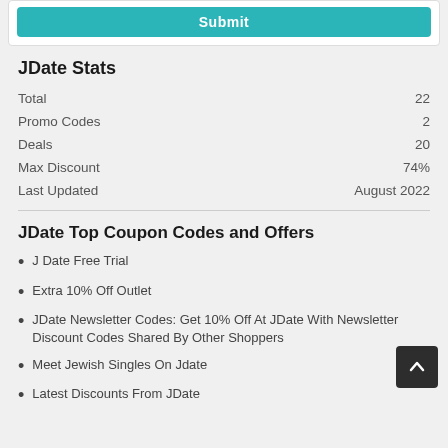[Figure (screenshot): Teal Submit button inside a white card at the top of the page]
JDate Stats
| Total | 22 |
| Promo Codes | 2 |
| Deals | 20 |
| Max Discount | 74% |
| Last Updated | August 2022 |
JDate Top Coupon Codes and Offers
J Date Free Trial
Extra 10% Off Outlet
JDate Newsletter Codes: Get 10% Off At JDate With Newsletter Discount Codes Shared By Other Shoppers
Meet Jewish Singles On Jdate
Latest Discounts From JDate